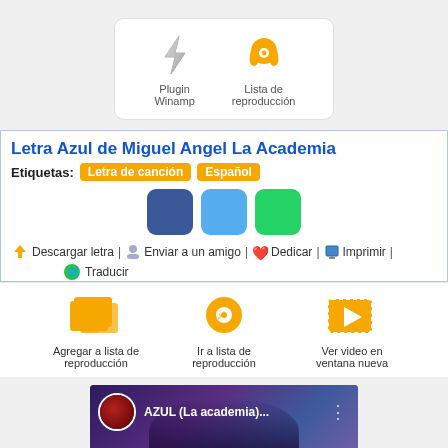[Figure (screenshot): Top box with Plugin Winamp (lightning bolt icon) and Lista de reproducción (headphones icon) on white rounded card]
Letra Azul de Miguel Angel La Academia
Etiquetas: Letra de canción Español
[Figure (screenshot): Three social share buttons (Facebook blue, Twitter light blue, WhatsApp green)]
Descargar letra | Enviar a un amigo | Dedicar | Imprimir | Traducir
[Figure (screenshot): Three media action icons: Agregar a lista de reproducción, Ir a lista de reproducción, Ver video en ventana nueva]
[Figure (screenshot): YouTube video thumbnail showing AZUL (La academia)... with avatar and title]